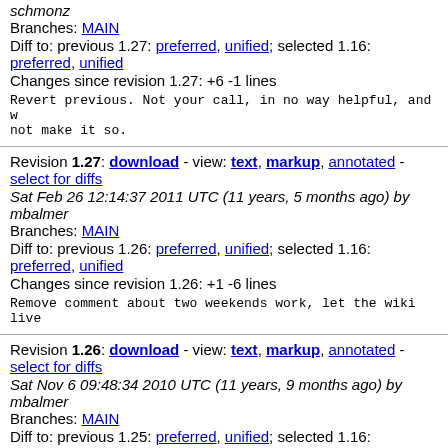schmonz
Branches: MAIN
Diff to: previous 1.27: preferred, unified; selected 1.16: preferred, unified
Changes since revision 1.27: +6 -1 lines
Revert previous. Not your call, in no way helpful, and wi not make it so.
Revision 1.27: download - view: text, markup, annotated - select for diffs
Sat Feb 26 12:14:37 2011 UTC (11 years, 5 months ago) by mbalmer
Branches: MAIN
Diff to: previous 1.26: preferred, unified; selected 1.16: preferred, unified
Changes since revision 1.26: +1 -6 lines
Remove comment about two weekends work, let the wiki live
Revision 1.26: download - view: text, markup, annotated - select for diffs
Sat Nov 6 09:48:34 2010 UTC (11 years, 9 months ago) by mbalmer
Branches: MAIN
Diff to: previous 1.25: preferred, unified; selected 1.16: preferred,